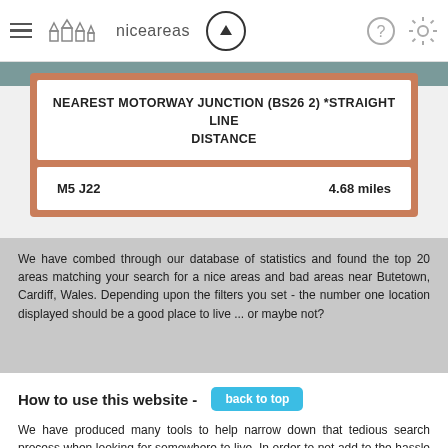niceareas
| NEAREST MOTORWAY JUNCTION (BS26 2) *STRAIGHT LINE DISTANCE |  |
| --- | --- |
| M5 J22 | 4.68 miles |
We have combed through our database of statistics and found the top 20 areas matching your search for a nice areas and bad areas near Butetown, Cardiff, Wales. Depending upon the filters you set - the number one location displayed should be a good place to live ... or maybe not?
How to use this website - back to top
We have produced many tools to help narrow down that tedious search process when looking for somewhere to live. In order to not add to the hassle everything you find here has been tailored to be as simple to use as possible.